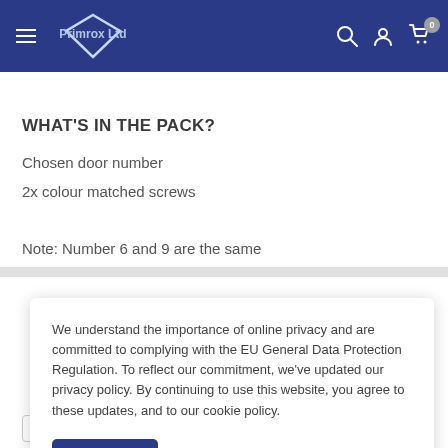Primrox Ltd
WHAT'S IN THE PACK?
Chosen door number
2x colour matched screws
Note: Number 6 and 9 are the same
We understand the importance of online privacy and are committed to complying with the EU General Data Protection Regulation. To reflect our commitment, we've updated our privacy policy. By continuing to use this website, you agree to these updates, and to our cookie policy.
Accept
VISA